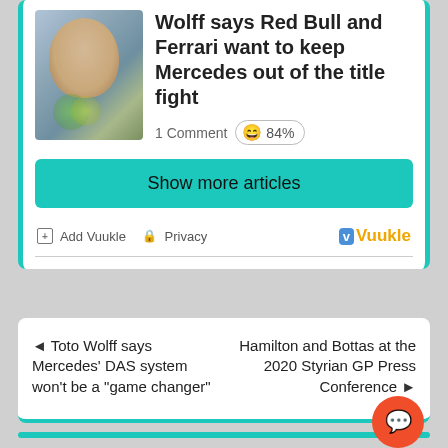[Figure (photo): Photo of a man (Toto Wolff) with blurred bokeh background]
Wolff says Red Bull and Ferrari want to keep Mercedes out of the title fight
1 Comment  😄 84%
Show more articles
+ Add Vuukle  🔒 Privacy
Vuukle
◄ Toto Wolff says Mercedes' DAS system won't be a "game changer"
Hamilton and Bottas at the 2020 Styrian GP Press Conference ►